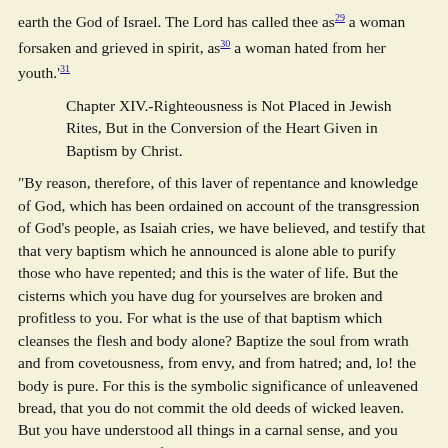earth the God of Israel. The Lord has called thee as[29] a woman forsaken and grieved in spirit, as[30] a woman hated from her youth.'[31]
Chapter XIV.-Righteousness is Not Placed in Jewish Rites, But in the Conversion of the Heart Given in Baptism by Christ.
"By reason, therefore, of this laver of repentance and knowledge of God, which has been ordained on account of the transgression of God's people, as Isaiah cries, we have believed, and testify that that very baptism which he announced is alone able to purify those who have repented; and this is the water of life. But the cisterns which you have dug for yourselves are broken and profitless to you. For what is the use of that baptism which cleanses the flesh and body alone? Baptize the soul from wrath and from covetousness, from envy, and from hatred; and, lo! the body is pure. For this is the symbolic significance of unleavened bread, that you do not commit the old deeds of wicked leaven. But you have understood all things in a carnal sense, and you suppose it to be piety if you do such things, while your souls are filled with deceit, and, in short, with every wickedness. Accordingly, also, after the seven days of eating unleavened bread, God commanded them to mingle new leaven, that is, the performance of other works, and not the imitation of the old and evil works. And because this is what this new Lawgiver